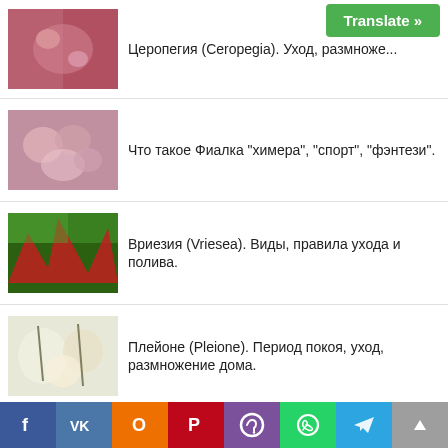Церопегия (Ceropegia). Уход, размноже...
Что такое Фиалка "химера", "спорт", "фэнтези".
Вриезия (Vriesea). Виды, правила ухода и полива.
Плейоне (Pleione). Период покоя, уход, размножение дома.
Как вырастить гранат из семечки в домашних условиях.
We use cookies on our website to give you the most relevant experience by remembering your preferences and repeat visits. By clicking "Accept", you consent to the use of ALL the cookies.
Do not sell my personal information.
f VK O P Viber WhatsApp Telegram ↑